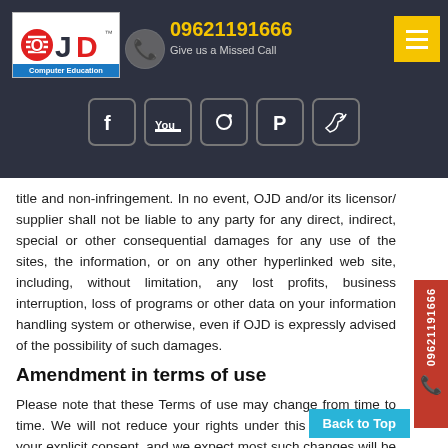OJD Computer Education — 09621191666 — Give us a Missed Call
title and non-infringement. In no event, OJD and/or its licensor/ supplier shall not be liable to any party for any direct, indirect, special or other consequential damages for any use of the sites, the information, or on any other hyperlinked web site, including, without limitation, any lost profits, business interruption, loss of programs or other data on your information handling system or otherwise, even if OJD is expressly advised of the possibility of such damages.
Amendment in terms of use
Please note that these Terms of use may change from time to time. We will not reduce your rights under this Policy without your explicit consent, and we expect most such changes will be minor. Regardless, we will post any Policy change on this page and if the changes are significant, we will